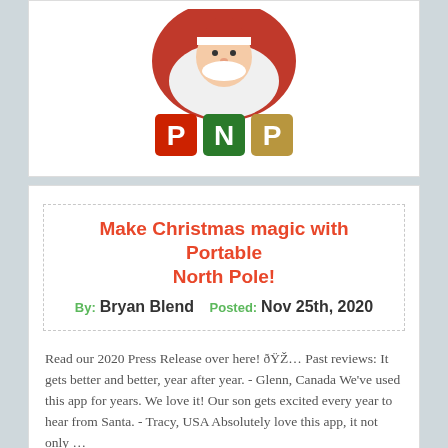[Figure (logo): Portable North Pole (PNP) logo with Santa Claus image and colorful letter blocks spelling PNP in red, green, and gold.]
Make Christmas magic with Portable North Pole!
By: Bryan Blend   Posted: Nov 25th, 2020
Read our 2020 Press Release over here! 🎅… Past reviews: It gets better and better, year after year.  - Glenn, Canada We've used this app for years. We love it! Our son gets excited every year to hear from Santa.  - Tracy, USA Absolutely love this app, it not only …
View All Portable North Pole Reviews and Articles